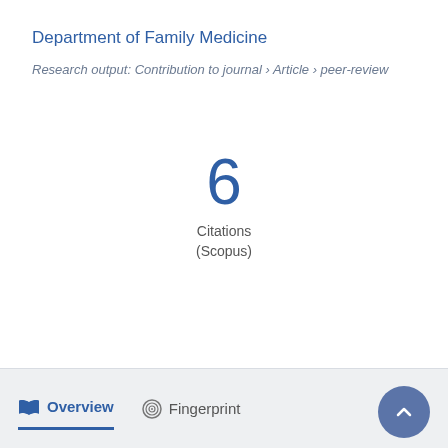Department of Family Medicine
Research output: Contribution to journal › Article › peer-review
6
Citations
(Scopus)
Overview
Fingerprint